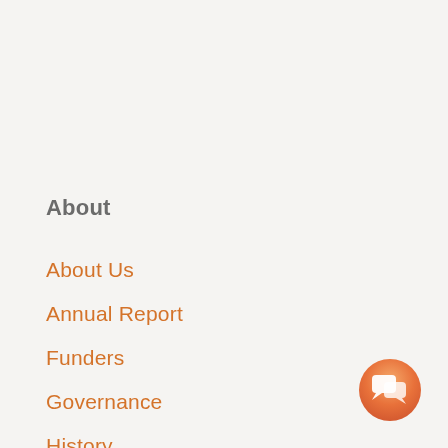About
About Us
Annual Report
Funders
Governance
History
Our Team
40 Years
[Figure (illustration): Orange gradient chat bubble icon button in the bottom-right corner]